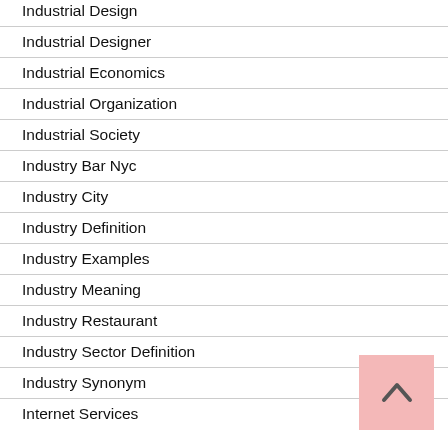Industrial Design
Industrial Designer
Industrial Economics
Industrial Organization
Industrial Society
Industry Bar Nyc
Industry City
Industry Definition
Industry Examples
Industry Meaning
Industry Restaurant
Industry Sector Definition
Industry Synonym
Internet Services